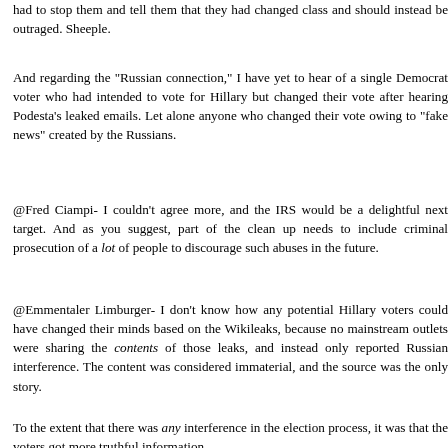had to stop them and tell them that they had changed class and should instead be outraged. Sheeple.
And regarding the "Russian connection," I have yet to hear of a single Democrat voter who had intended to vote for Hillary but changed their vote after hearing Podesta's leaked emails. Let alone anyone who changed their vote owing to "fake news" created by the Russians.
@Fred Ciampi- I couldn't agree more, and the IRS would be a delightful next target. And as you suggest, part of the clean up needs to include criminal prosecution of a lot of people to discourage such abuses in the future.
@Emmentaler Limburger- I don't know how any potential Hillary voters could have changed their minds based on the Wikileaks, because no mainstream outlets were sharing the contents of those leaks, and instead only reported Russian interference. The content was considered immaterial, and the source was the only story.
To the extent that there was any interference in the election process, it was that the voters got more truthful information